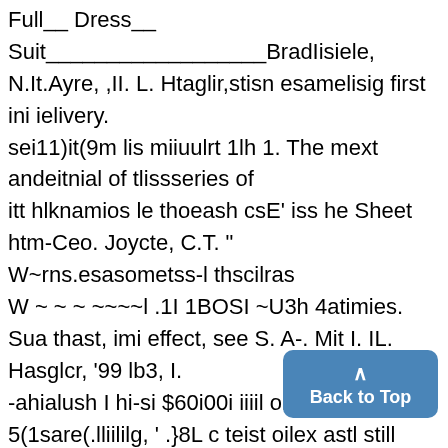Full__ Dress__
Suit__________________BradIisiele, N.It.Ayre, ,II. L. Htaglir,stisn esamelisig first ini ielivery. sei11)it(9m lis miiuulrt 1lh 1. The mext andeitnial of tlissseries of
itt hlknamios le thoeash csE' iss he Sheet htm-Ceo. Joycte, C.T. " W~rns.esasometss-l thscilras
W ~ ~ ~ ~~~~l .1I 1BOSI ~U3h 4atimies. Sua thast, imi effect, see S. A-. Mit I. IL. Hasglcr, '99 lb3, I.
-ahialush I hi-si $60i00i iiiil omhesi and 5(1sare(.lliililg, ' .}8L c teist oilex astl still